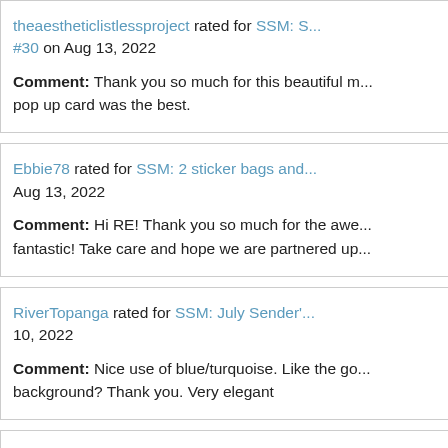theaestheticlistlessproject rated for SSM: S... #30 on Aug 13, 2022
Comment: Thank you so much for this beautiful m... pop up card was the best.
Ebbie78 rated for SSM: 2 sticker bags and... Aug 13, 2022
Comment: Hi RE! Thank you so much for the awe... fantastic! Take care and hope we are partnered up...
RiverTopanga rated for SSM: July Sender'... 10, 2022
Comment: Nice use of blue/turquoise. Like the go... background? Thank you. Very elegant
tatntole rated for BLC Bookish Monthly Wr... Aug 9, 2022
Comment: I need to seriously read more. Thank y...